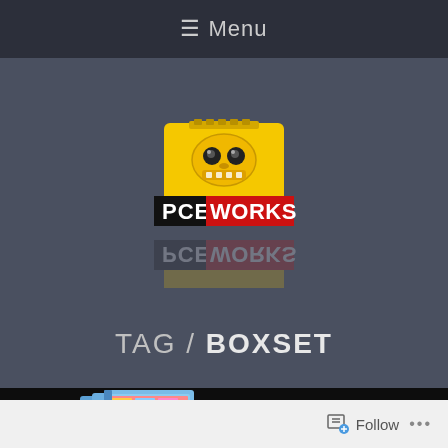≡ Menu
[Figure (logo): PCE Works logo — yellow robot/helmet figure with 'PCE' in white bold text and 'WORKS' in red bold text on black background, with a reflected/mirrored version below]
TAG / BOXSET
[Figure (photo): Photo of blue anime-style boxset/game boxes on a dark background]
Follow  •••